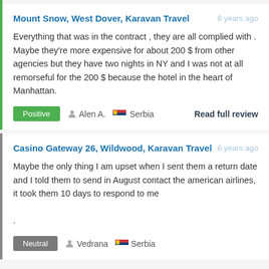Mount Snow, West Dover, Karavan Travel — 6 years ago
Everything that was in the contract , they are all complied with . Maybe they're more expensive for about 200 $ from other agencies but they have two nights in NY and I was not at all remorseful for the 200 $ because the hotel in the heart of Manhattan.
Positive   Alen A.   Serbia   Read full review
Casino Gateway 26, Wildwood, Karavan Travel — 6 years ago
Maybe the only thing I am upset when I sent them a return date and I told them to send in August contact the american airlines, it took them 10 days to respond to me .
Neutral   Vedrana   Serbia